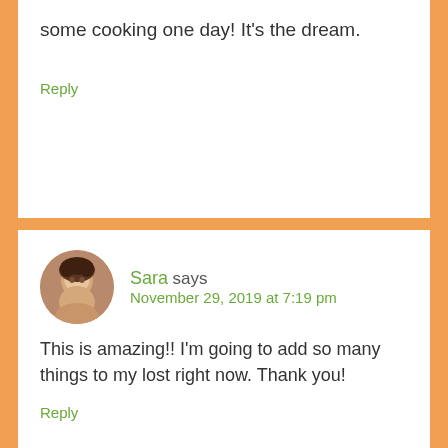some cooking one day! It's the dream.
Reply
Sara says
November 29, 2019 at 7:19 pm
This is amazing!! I'm going to add so many things to my lost right now. Thank you!
Reply
Tiffany T. says
November 29, 2019 at 8:53 pm